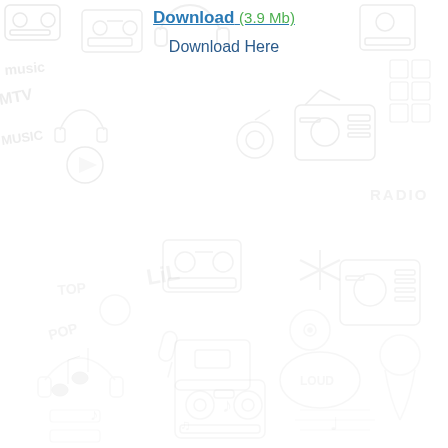[Figure (illustration): Light gray music/audio themed doodle background with cassette tapes, headphones, radio devices, speakers, musical notes, and cartoon characters across the full page]
Download (3.9 Mb)
Download Here